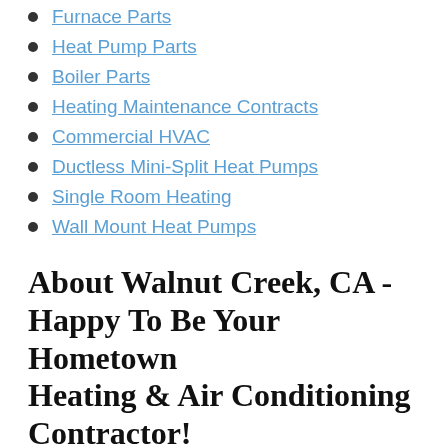Furnace Parts
Heat Pump Parts
Boiler Parts
Heating Maintenance Contracts
Commercial HVAC
Ductless Mini-Split Heat Pumps
Single Room Heating
Wall Mount Heat Pumps
About Walnut Creek, CA - Happy To Be Your Hometown Heating & Air Conditioning Contractor!
Walnut Creek is a large city in Contra Costa County, California. The city is located a short distance from the downtown San Francisco and Oakland areas, and it is positioned between Briones Regional Park and Mt. Diablo State Park. In 1849,